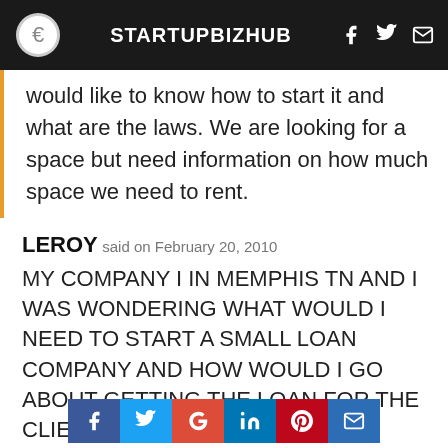STARTUPBIZHUB
would like to know how to start it and what are the laws. We are looking for a space but need information on how much space we need to rent.
LEROY said on February 20, 2010
MY COMPANY I IN MEMPHIS TN AND I WAS WONDERING WHAT WOULD I NEED TO START A SMALL LOAN COMPANY AND HOW WOULD I GO ABOUT GETTING THE LOAN FOR THE CLIENTS AND HOW MUCH OF A INITIAL INVESTMENT WILL I HAVE TO HAVE
[Figure (infographic): Social sharing bar with Facebook, Twitter, Google+, LinkedIn, Pinterest, and email buttons]